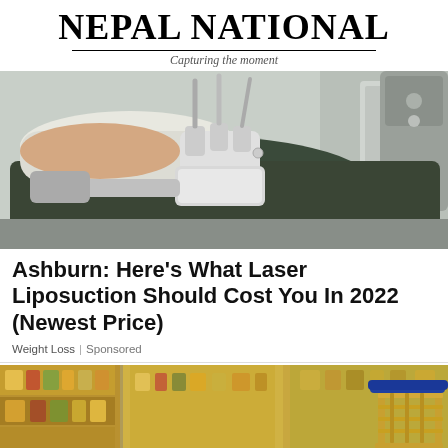Nepal National
Capturing the moment
[Figure (photo): Medical/cosmetic procedure photo showing laser liposuction device applied to a person's body, clinical setting]
Ashburn: Here's What Laser Liposuction Should Cost You In 2022 (Newest Price)
Weight Loss | Sponsored
[Figure (photo): Grocery store aisle with blurred shelves of products and a gold shopping cart in the foreground]